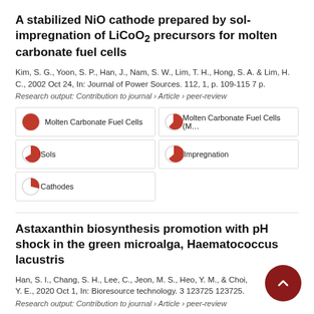A stabilized NiO cathode prepared by sol-impregnation of LiCoO2 precursors for molten carbonate fuel cells
Kim, S. G., Yoon, S. P., Han, J., Nam, S. W., Lim, T. H., Hong, S. A. & Lim, H. C., 2002 Oct 24, In: Journal of Power Sources. 112, 1, p. 109-115 7 p.
Research output: Contribution to journal › Article › peer-review
[Figure (infographic): Five keyword badges with pie-chart-like icons showing: Molten Carbonate Fuel Cells (100%), Molten Carbonate Fuel Cells (M) (~75%), Sols (~85%), Impregnation (~70%), Cathodes (~55%)]
Astaxanthin biosynthesis promotion with pH shock in the green microalga, Haematococcus lacustris
Han, S. I., Chang, S. H., Lee, C., Jeon, M. S., Heo, Y. M., & Choi, Y. E., 2020 Oct 1, In: Bioresource technology. 3 123725 123725.
Research output: Contribution to journal › Article › peer-review